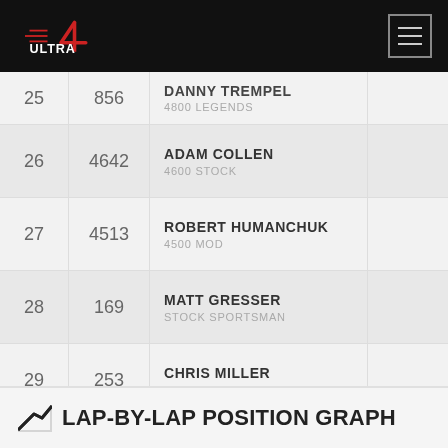Ultra4 Racing
| Pos | Car # | Driver / Class |  |
| --- | --- | --- | --- |
| 25 | 856 | DANNY TREMPEL
4800 LEGENDS |  |
| 26 | 4642 | ADAM COLLEN
4600 STOCK |  |
| 27 | 4513 | ROBERT HUMANCHUK
4500 MOD |  |
| 28 | 169 | MATT GRESSER
STOCK SPORTSMAN |  |
| 29 | 253 | CHRIS MILLER
STOCK SPORTSMAN |  |
| 30 | 9964 | JEFF ROSS
STOCK SPORTSMAN |  |
LAP-BY-LAP POSITION GRAPH